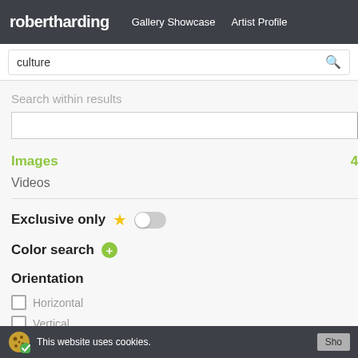robertharding | Gallery Showcase | Artist Profile
culture (search query)
Search within results
Images 49271
Videos 4294
Exclusive only
Color search
Orientation
Horizontal
Vertical
Panoramic
[Figure (photo): Prayer wheels - golden cylindrical Buddhist prayer wheels with red wooden frame]
[Figure (photo): Chinese fishing nets silhouetted at dusk against purple and blue sky over water]
[Figure (photo): Partial view of another image at bottom - yellow/green tones]
This website uses cookies.